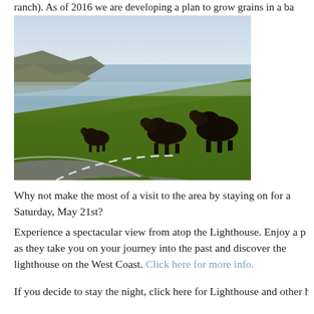ranch). As of 2016 we are developing a plan to grow grains in a ba
[Figure (photo): Photograph of cows on a coastal hillside road with ocean and rocky cliffs in the background, hazy sky.]
Why not make the most of a visit to the area by staying on for a Saturday, May 21st?
Experience a spectacular view from atop the Lighthouse. Enjoy a p as they take you on your journey into the past and discover the lighthouse on the West Coast. Click here for more info.
If you decide to stay the night, click here for Lighthouse and other h